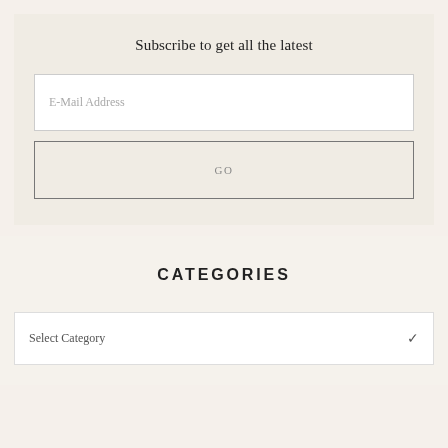Subscribe to get all the latest
E-Mail Address
GO
CATEGORIES
Select Category